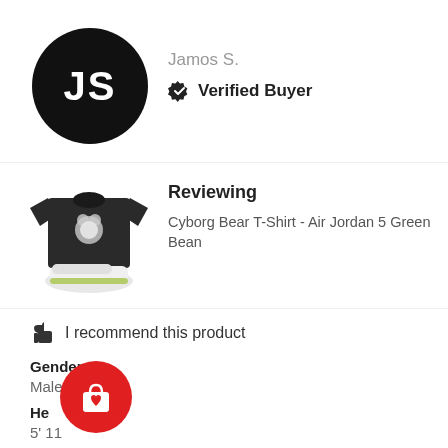[Figure (illustration): Black circular avatar with white initials JS]
Jamos S.
Verified Buyer
[Figure (photo): Product image: dark t-shirt with cyborg bear graphic and white Air Jordan 5 Green Bean sneakers]
Reviewing
Cyborg Bear T-Shirt - Air Jordan 5 Green Bean
I recommend this product
Gender
Male
He
5' 11